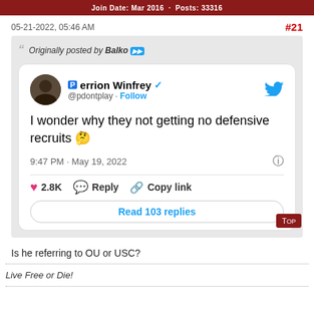Join Date: Mar 2016 · Posts: 33316
05-21-2022, 05:46 AM
#21
Originally posted by Balko
[Figure (screenshot): Embedded tweet from @pdontplay (Perrion Winfrey) saying 'I wonder why they not getting no defensive recruits 🤔' posted at 9:47 PM · May 19, 2022 with 2.8K likes, Reply, Copy link, and Read 103 replies button.]
Is he referring to OU or USC?
Live Free or Die!